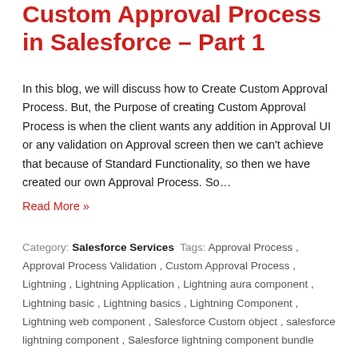Custom Approval Process in Salesforce – Part 1
In this blog, we will discuss how to Create Custom Approval Process. But, the Purpose of creating Custom Approval Process is when the client wants any addition in Approval UI or any validation on Approval screen then we can't achieve that because of Standard Functionality, so then we have created our own Approval Process. So…
Read More »
Category: Salesforce Services  Tags: Approval Process , Approval Process Validation , Custom Approval Process , Lightning , Lightning Application , Lightning aura component , Lightning basic , Lightning basics , Lightning Component , Lightning web component , Salesforce Custom object , salesforce lightning component , Salesforce lightning component bundle